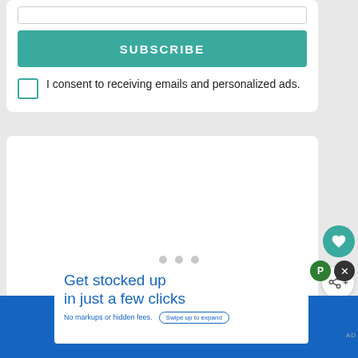[Figure (screenshot): Subscribe card with teal SUBSCRIBE button and consent checkbox]
I consent to receiving emails and personalized ads.
[Figure (screenshot): Content card with three grey dots indicating a carousel, heart and share action buttons, and a What's Next panel showing LOGE Offers Ideal...]
WHAT'S NEXT → LOGE Offers Ideal...
[Figure (screenshot): Advertisement banner: Get stocked up in just a few clicks. No markups or hidden fees. Swipe up to expand.]